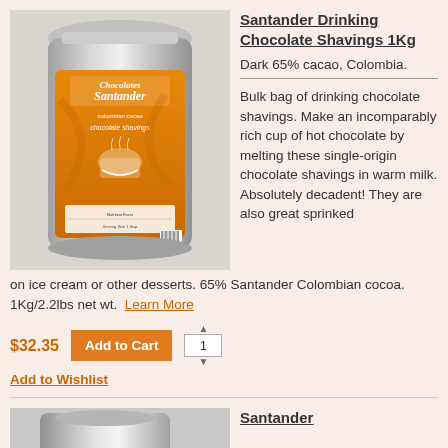[Figure (photo): Silver foil bulk bag of Santander Drinking Chocolate Shavings 1Kg with orange label showing the Santander brand and a hot chocolate cup illustration]
Santander Drinking Chocolate Shavings 1Kg
Dark 65% cacao, Colombia.
Bulk bag of drinking chocolate shavings. Make an incomparably rich cup of hot chocolate by melting these single-origin chocolate shavings in warm milk. Absolutely decadent! They are also great sprinked on ice cream or other desserts. 65% Santander Colombian cocoa. 1Kg/2.2lbs net wt. Learn More
$32.35  Add to Cart  1  Add to Wishlist
[Figure (photo): Partial view of another Santander product in silver packaging]
Santander